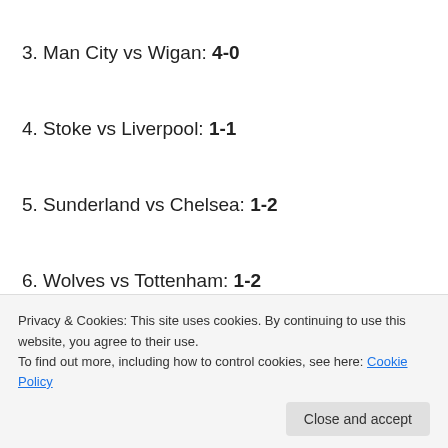3. Man City vs Wigan: 4-0
4. Stoke vs Liverpool: 1-1
5. Sunderland vs Chelsea: 1-2
6. Wolves vs Tottenham: 1-2
[Figure (other): Jetpack advertisement banner with green background, Jetpack logo and 'Back up your site' button]
7. Bolton vs Man United: 1-2
Privacy & Cookies: This site uses cookies. By continuing to use this website, you agree to their use.
To find out more, including how to control cookies, see here: Cookie Policy